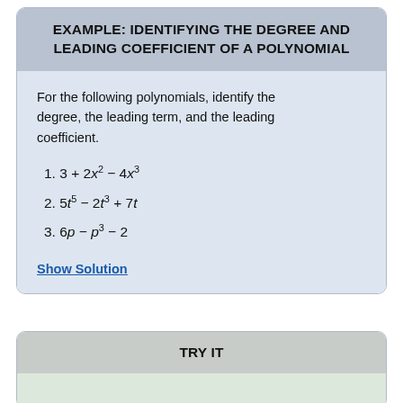EXAMPLE: IDENTIFYING THE DEGREE AND LEADING COEFFICIENT OF A POLYNOMIAL
For the following polynomials, identify the degree, the leading term, and the leading coefficient.
1. 3 + 2x² − 4x³
2. 5t⁵ − 2t³ + 7t
3. 6p − p³ − 2
Show Solution
TRY IT